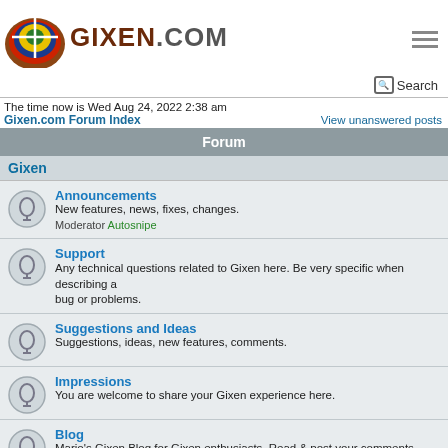[Figure (logo): Gixen.com archery target logo with colorful rings and crosshair]
GIXEN.COM
Search
The time now is Wed Aug 24, 2022 2:38 am
Gixen.com Forum Index
View unanswered posts
Forum
Gixen
Announcements
New features, news, fixes, changes.
Moderator Autosnipe
Support
Any technical questions related to Gixen here. Be very specific when describing a bug or problems.
Suggestions and Ideas
Suggestions, ideas, new features, comments.
Impressions
You are welcome to share your Gixen experience here.
Blog
Mario's Gixen Blog for Gixen enthusiasts. Read & post your comments.